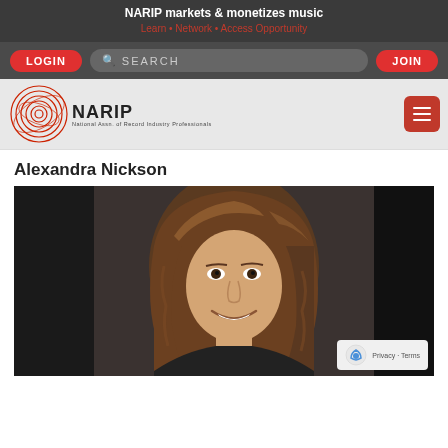NARIP markets & monetizes music
Learn • Network • Access Opportunity
Alexandra Nickson
[Figure (photo): Portrait photo of Alexandra Nickson, a woman with long wavy brown highlighted hair, smiling, against a dark background]
Privacy · Terms